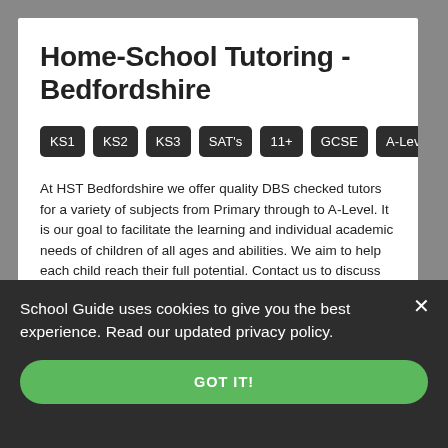Home-School Tutoring - Bedfordshire
KS1
KS2
KS3
SAT's
11+
GCSE
A-Level
At HST Bedfordshire we offer quality DBS checked tutors for a variety of subjects from Primary through to A-Level. It is our goal to facilitate the learning and individual academic needs of children of all ages and abilities. We aim to help each child reach their full potential. Contact us to discuss your requirements and we will ensure that
School Guide uses cookies to give you the best experience. Read our updated privacy policy.
GOT IT!